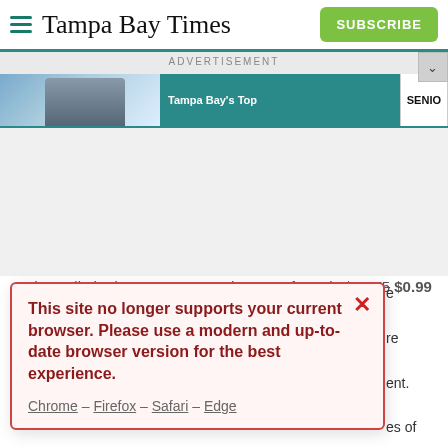Tampa Bay Times — SUBSCRIBE
ADVERTISEMENT
[Figure (screenshot): Tampa Bay's Top advertisement banner with cycling image and SENIO text]
This site no longer supports your current browser. Please use a modern and up-to-date browser version for the best experience.
Chrome – Firefox – Safari – Edge
Enjoy unlimited access to tampabay.com for only $11.75 $0.99 for the first month.
Subscribe
Log In
Interested in print delivery? Subscribe here →
[Figure (screenshot): Tampa Bay Women's Expo advertisement: Sat., Sept. 10, 10 a.m. - 3 p.m., Florida State Fairgrounds Tampa]